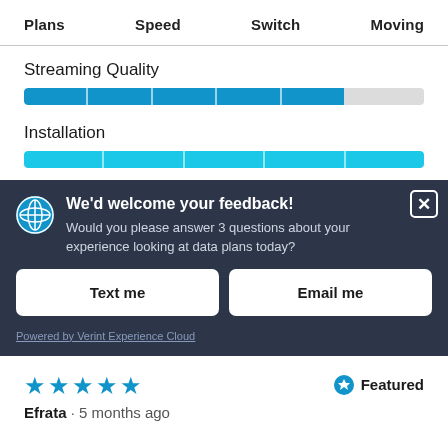Plans   Speed   Switch   Moving
Streaming Quality
[Figure (other): Progress bar for Streaming Quality, approximately 80% filled with blue segments on grey track]
Installation
[Figure (other): Progress bar for Installation, 100% filled with blue segments on grey track]
We'd welcome your feedback! Would you please answer 3 questions about your experience looking at data plans today?
Text me
Email me
Powered by Verint Experience Cloud
★★★★★   Featured
Efrata · 5 months ago